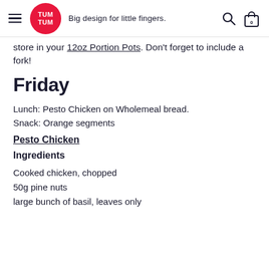Tum Tum — Big design for little fingers.
store in your 12oz Portion Pots. Don't forget to include a fork!
Friday
Lunch: Pesto Chicken on Wholemeal bread.
Snack: Orange segments
Pesto Chicken
Ingredients
Cooked chicken, chopped
50g pine nuts
large bunch of basil, leaves only